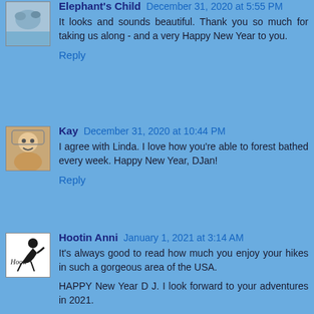Elephant's Child December 31, 2020 at 5:55 PM
It looks and sounds beautiful. Thank you so much for taking us along - and a very Happy New Year to you.
Reply
Kay December 31, 2020 at 10:44 PM
I agree with Linda. I love how you're able to forest bathed every week. Happy New Year, DJan!
Reply
Hootin Anni January 1, 2021 at 3:14 AM
It's always good to read how much you enjoy your hikes in such a gorgeous area of the USA.
HAPPY New Year D J. I look forward to your adventures in 2021.
Reply